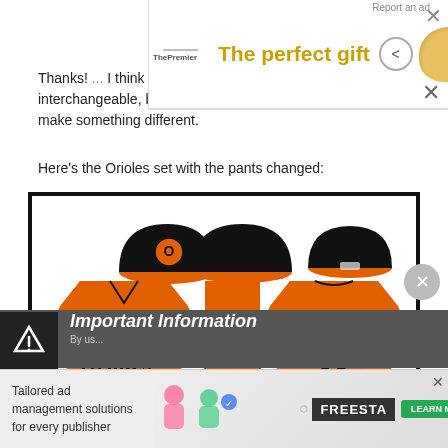[Figure (screenshot): Top advertisement banner showing 'The perfect gift' with navigation arrows, food bowl image, and '35% OFF + FREE SHIPPING' green badge]
Thanks! I think that's what Nike'd do. The pants can be interchangeable, but I'm avoiding using white pants to make something different.
Here's the Orioles set with the pants changed:
[Figure (illustration): Baltimore Orioles baseball uniform concept showing front view with 'Orioles' script, back view with number 42, side detail panel showing orange fabric, and three black baseball caps from different angles. Uniforms are orange with black trim.]
Important Information
[Figure (screenshot): Bottom advertisement for tailored ad management solutions for every publisher, featuring Freesta branding with learn more button]